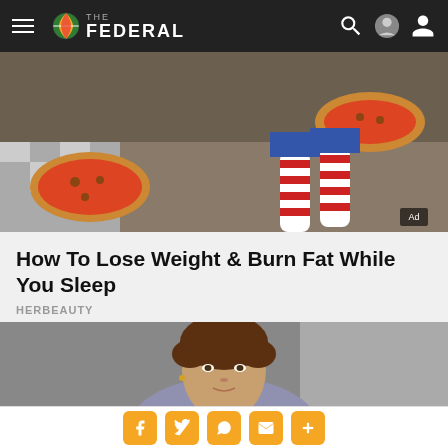THE FEDERAL
[Figure (photo): Person lying on a couch with two pizzas, wearing red and white striped socks. Checkerboard floor visible. Ad badge in bottom right corner.]
How To Lose Weight & Burn Fat While You Sleep
HERBEAUTY
[Figure (photo): Close-up portrait of a woman with short curly brown hair, looking at the camera against a blurred background.]
Social share buttons: Facebook, Twitter, WhatsApp, Email, More